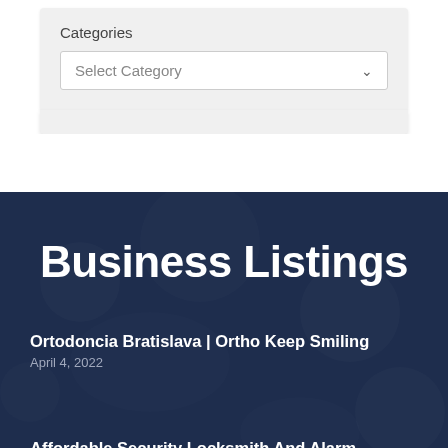Categories
Select Category
Business Listings
Ortodoncia Bratislava | Ortho Keep Smiling
April 4, 2022
Affordable Security Locksmith And Alarm